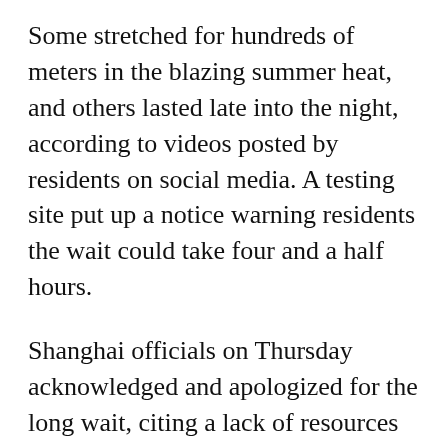Some stretched for hundreds of meters in the blazing summer heat, and others lasted late into the night, according to videos posted by residents on social media. A testing site put up a notice warning residents the wait could take four and a half hours.
Shanghai officials on Thursday acknowledged and apologized for the long wait, citing a lack of resources and facilities -- despite authorities having built more than 10,000 testing sites and trained thousands of workers to swab throats.
Some of the testing sites had not been put into operation, while others only opened for a short period of time in the day and were understaffed